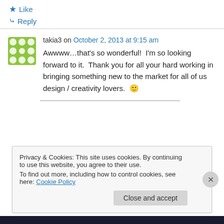★ Like
↪ Reply
takia3 on October 2, 2013 at 9:15 am
Awwww…that's so wonderful!  I'm so looking forward to it.  Thank you for all your hard working in bringing something new to the market for all of us design / creativity lovers.  🙂
Privacy & Cookies: This site uses cookies. By continuing to use this website, you agree to their use.
To find out more, including how to control cookies, see here: Cookie Policy
Close and accept